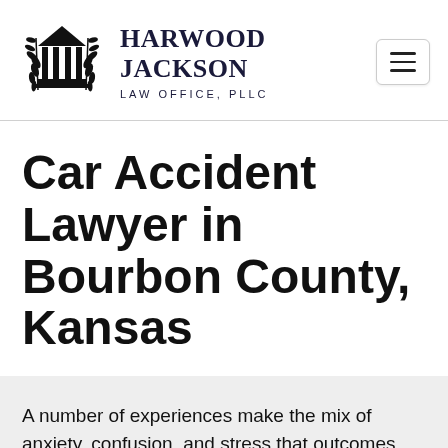[Figure (logo): Harwood Jackson Law Office PLLC logo with a courthouse/pillars icon flanked by laurel wreaths, and firm name text]
Car Accident Lawyer in Bourbon County, Kansas
A number of experiences make the mix of anxiety, confusion, and stress that outcomes from a car accident. So much occurs at the